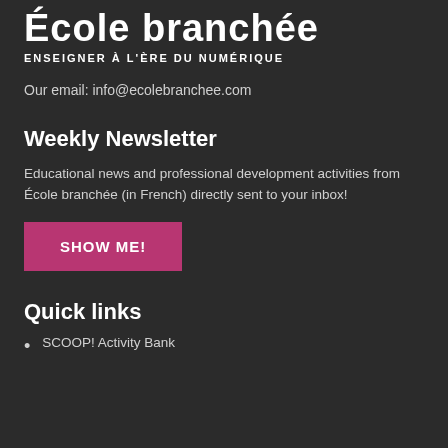École branchée — ENSEIGNER À L'ÈRE DU NUMÉRIQUE
Our email: info@ecolebranchee.com
Weekly Newsletter
Educational news and professional development activities from École branchée (in French) directly sent to your inbox!
SHOW ME!
Quick links
SCOOP! Activity Bank